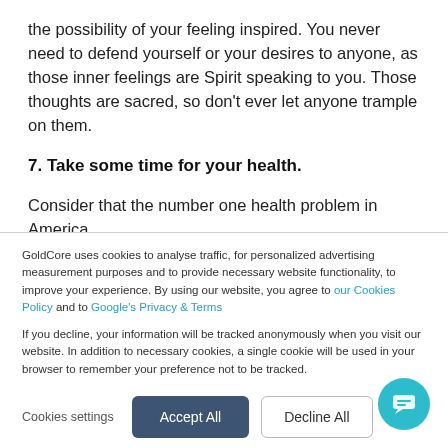the possibility of your feeling inspired. You never need to defend yourself or your desires to anyone, as those inner feelings are Spirit speaking to you. Those thoughts are sacred, so don't ever let anyone trample on them.
7. Take some time for your health.
Consider that the number one health problem in America
GoldCore uses cookies to analyse traffic, for personalized advertising measurement purposes and to provide necessary website functionality, to improve your experience. By using our website, you agree to our Cookies Policy and to Google's Privacy & Terms
If you decline, your information will be tracked anonymously when you visit our website. In addition to necessary cookies, a single cookie will be used in your browser to remember your preference not to be tracked.
Cookies settings | Accept All | Decline All